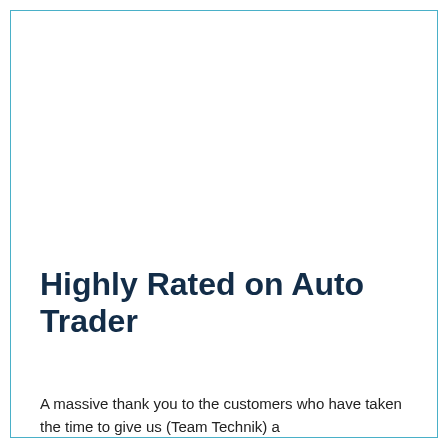Highly Rated on Auto Trader
A massive thank you to the customers who have taken the time to give us (Team Technik) a